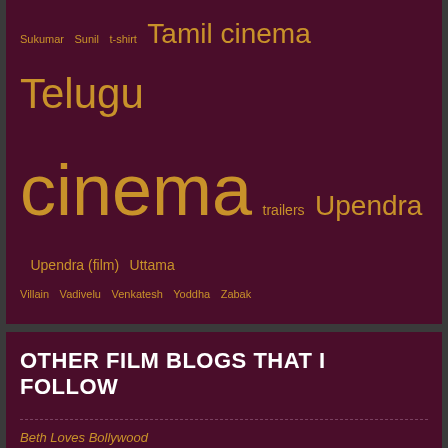Sukumar Sunil t-shirt Tamil cinema Telugu cinema trailers Upendra Upendra (film) Uttama Villain Vadivelu Venkatesh Yoddha Zabak
OTHER FILM BLOGS THAT I FOLLOW
Beth Loves Bollywood
Cinema Chaat
Filmi Girl!
Filmi Geek